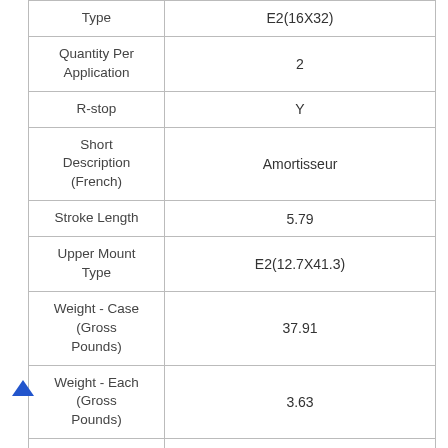| Field | Value |
| --- | --- |
| Type | E2(16X32) |
| Quantity Per Application | 2 |
| R-stop | Y |
| Short Description (French) | Amortisseur |
| Stroke Length | 5.79 |
| Upper Mount Type | E2(12.7X41.3) |
| Weight - Case (Gross Pounds) | 37.91 |
| Weight - Each (Gross Pounds) | 3.63 |